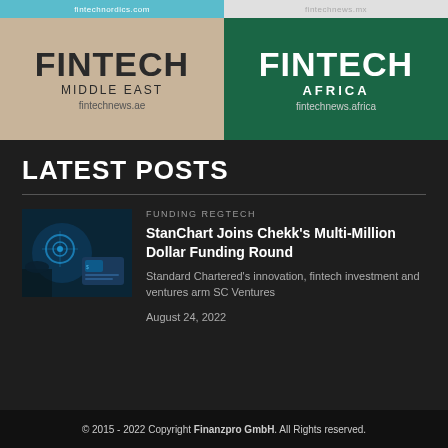[Figure (logo): Fintech Middle East logo on tan/beige background with text FINTECH MIDDLE EAST fintechnews.ae]
[Figure (logo): Fintech Africa logo on dark green background with text FINTECH AFRICA fintechnews.africa]
LATEST POSTS
[Figure (photo): Dark blue technology image showing biometric scan and financial app interface]
FUNDING REGTECH
StanChart Joins Chekk's Multi-Million Dollar Funding Round
Standard Chartered's innovation, fintech investment and ventures arm SC Ventures
August 24, 2022
© 2015 - 2022 Copyright Finanzpro GmbH. All Rights reserved.